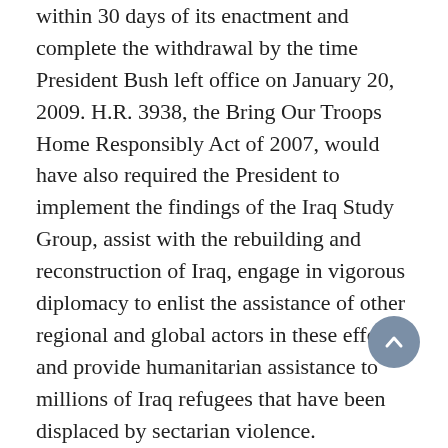within 30 days of its enactment and complete the withdrawal by the time President Bush left office on January 20, 2009. H.R. 3938, the Bring Our Troops Home Responsibly Act of 2007, would have also required the President to implement the findings of the Iraq Study Group, assist with the rebuilding and reconstruction of Iraq, engage in vigorous diplomacy to enlist the assistance of other regional and global actors in these efforts, and provide humanitarian assistance to millions of Iraq refugees that have been displaced by sectarian violence. Congressman Dingell did not re-introduce the legislation in the 111th Congress because President Obama put forward a responsible plan to end the war in Iraq.
Iraqis are now one of the largest displaced population in the world and the fastest-growing refugee population globally. More than two million refugees have fled to neighboring countries such as Jordan